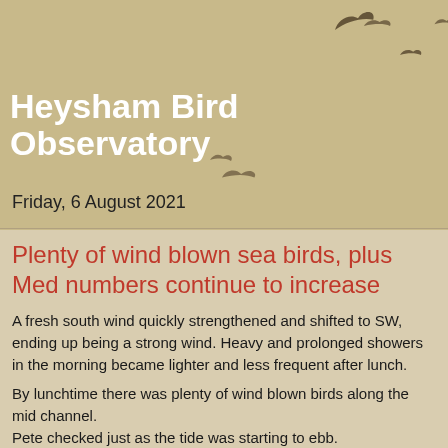Heysham Bird Observatory
Friday, 6 August 2021
Plenty of wind blown sea birds, plus Med numbers continue to increase
A fresh south wind quickly strengthened and shifted to SW, ending up being a strong wind. Heavy and prolonged showers in the morning became lighter and less frequent after lunch.
By lunchtime there was plenty of wind blown birds along the mid channel.
Pete checked just as the tide was starting to ebb.
At that time a number of birds were feeding in the mid channel, including:
Gannet 6
Manx Shearwater 4